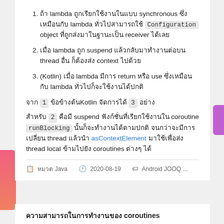ถ้า lambda ถูกเรียกใช้งานในแบบ synchronous ซึ่งเหมือนกับ lambda ทั่วไปสามารถใช้ Configuration object ที่ถูกส่งมาในฐานะเป็น receiver ได้เลย
เมื่อ lambda ถูก suspend แล้วกลับมาทำงานต่อบน thread อื่น ก็ต้องส่ง context ไปด้วย
(Kotlin) เมื่อ lambda มีการ return หรือ use ซึ่งเหมือนกับ lambda ทั่วไปก็จะใช้งานได้ปกติ
จาก 1 ข้อข้างต้นKotlin จัดการได้ 3 อย่าง
สำหรับ 2 คือมี suspend ฟังก์ชั่นที่เรียกใช้งานใน coroutine runBlocking นั้นก็จะทำงานได้ตามปกติ จนกว่าจะมีการเปลี่ยน thread แล้วนำ asContextElement มาใช้เพื่อส่ง thread local ข้ามไปยัง coroutines ต่างๆ ได้
📋 หมวด Java   🕐 2020-08-19   🏷 Android JOOQ ...
ความสามารถในการทำงานของ coroutines